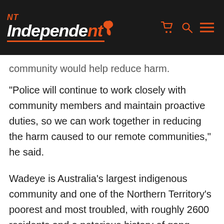NT Independent
community would help reduce harm.
“Police will continue to work closely with community members and maintain proactive duties, so we can work together in reducing the harm caused to our remote communities,” he said.
Wadeye is Australia’s largest indigenous community and one of the Northern Territory’s poorest and most troubled, with roughly 2600 residents and a notorious history of gang violence.